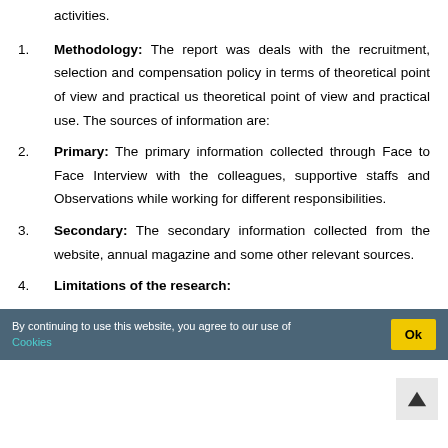activities.
1. Methodology: The report was deals with the recruitment, selection and compensation policy in terms of theoretical point of view and practical us theoretical point of view and practical use. The sources of information are:
2. Primary: The primary information collected through Face to Face Interview with the colleagues, supportive staffs and Observations while working for different responsibilities.
3. Secondary: The secondary information collected from the website, annual magazine and some other relevant sources.
4. Limitations of the research: